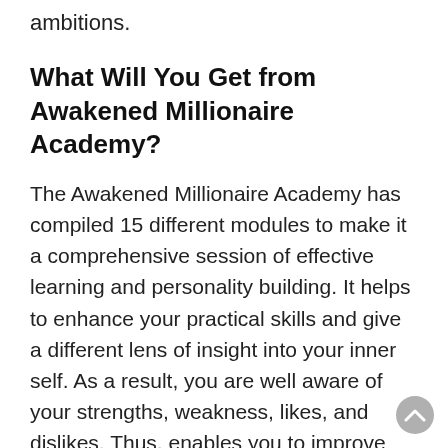ambitions.
What Will You Get from Awakened Millionaire Academy?
The Awakened Millionaire Academy has compiled 15 different modules to make it a comprehensive session of effective learning and personality building. It helps to enhance your practical skills and give a different lens of insight into your inner self. As a result, you are well aware of your strengths, weakness, likes, and dislikes. Thus, enables you to improve your productivity and efficiency and make sound decisions in challenging situations.